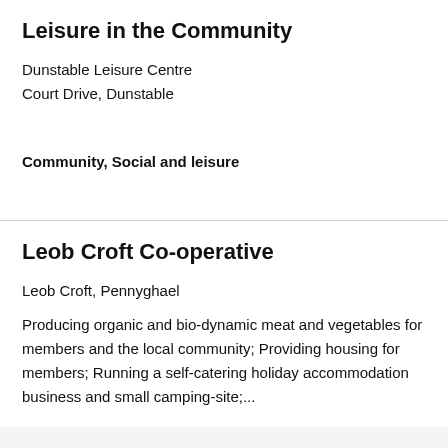Leisure in the Community
Dunstable Leisure Centre
Court Drive, Dunstable
Community, Social and leisure
Leob Croft Co-operative
Leob Croft, Pennyghael
Producing organic and bio-dynamic meat and vegetables for members and the local community; Providing housing for members; Running a self-catering holiday accommodation business and small camping-site;...